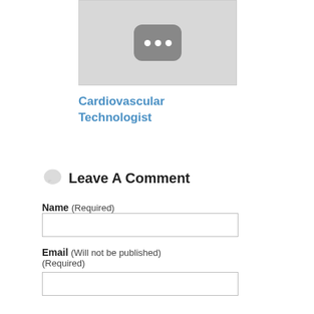[Figure (screenshot): Thumbnail placeholder with dark rounded rectangle and three white dots, on a light grey background]
Cardiovascular Technologist
Leave A Comment
Name (Required)
Email (Will not be published) (Required)